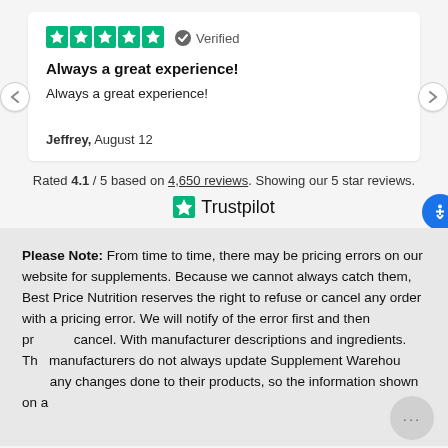[Figure (other): Five green star rating icons followed by a verified badge with checkmark icon and text 'Verified']
Always a great experience!
Always a great experience!
Jeffrey, August 12
Rated 4.1 / 5 based on 4,650 reviews. Showing our 5 star reviews.
[Figure (logo): Trustpilot logo with green star icon and text 'Trustpilot']
Please Note: From time to time, there may be pricing errors on our website for supplements. Because we cannot always catch them, Best Price Nutrition reserves the right to refuse or cancel any order with a pricing error. We will notify of the error first and then promptly cancel. With manufacturer descriptions and ingredients. The manufacturers do not always update Supplement Warehouse with any changes done to their products, so the information shown on a